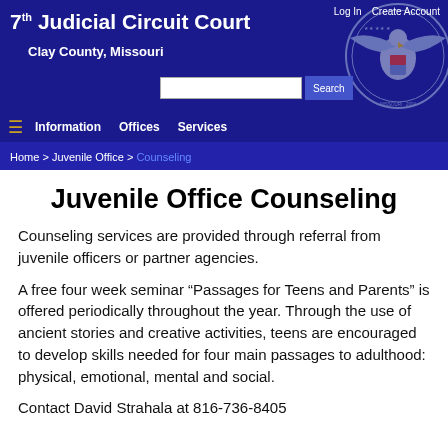7th Judicial Circuit Court — Clay County, Missouri | Log In | Create Account
Information | Offices | Services | Search
Home > Juvenile Office > Counseling
Juvenile Office Counseling
Counseling services are provided through referral from juvenile officers or partner agencies.
A free four week seminar “Passages for Teens and Parents” is offered periodically throughout the year. Through the use of ancient stories and creative activities, teens are encouraged to develop skills needed for four main passages to adulthood: physical, emotional, mental and social.
Contact David Strahala at 816-736-8405